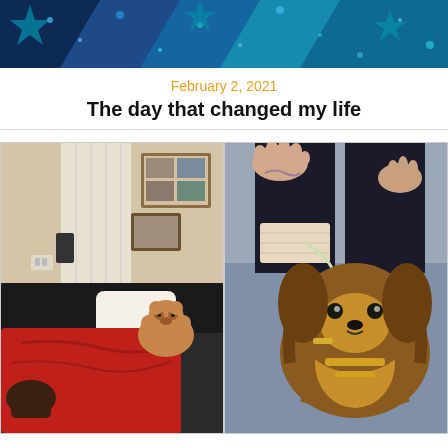[Figure (photo): Top banner photo showing blue and teal fabric or quilt pattern with star-like designs]
February 2, 2021
The day that changed my life
[Figure (photo): Left photo: a small curly reddish-brown dog (poodle mix) sitting on a dark leather couch covered with a red blanket, with a white pillow and framed photos on the wall in background]
[Figure (photo): Right photo: a small Yorkshire Terrier dog with gold accessories sitting near a person's bare feet and legs with a tattoo, on a blue carpet]